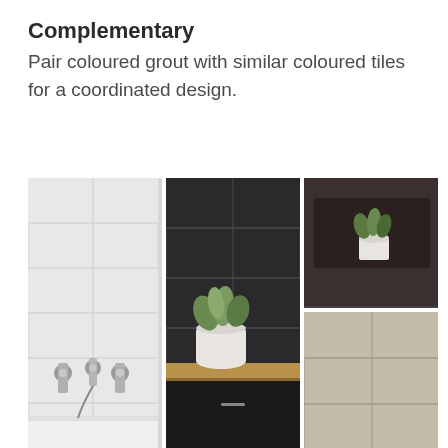Complementary
Pair coloured grout with similar coloured tiles for a coordinated design.
[Figure (photo): Three-panel photo collage showing complementary tile and grout combinations: left panel shows white bathroom tiles with silver faucets, center panel shows dark charcoal subway tiles with a white pot plant on a wooden shelf, right panel (split) shows a dark shelf niche with a plant pot on top and cream/beige subway tiles on the bottom.]